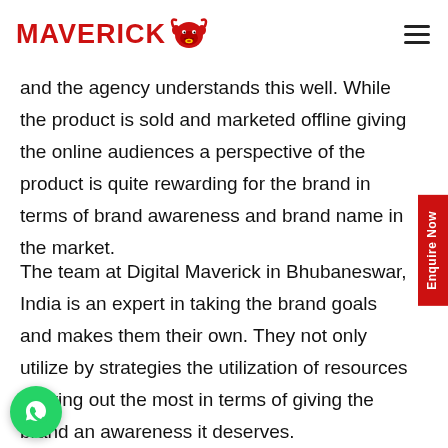MAVERICK [bull logo] [hamburger menu]
and the agency understands this well. While the product is sold and marketed offline giving the online audiences a perspective of the product is quite rewarding for the brand in terms of brand awareness and brand name in the market.
The team at Digital Maverick in Bhubaneswar, India is an expert in taking the brand goals and makes them their own. They not only utilize by strategies the utilization of resources to bring out the most in terms of giving the brand an awareness it deserves.